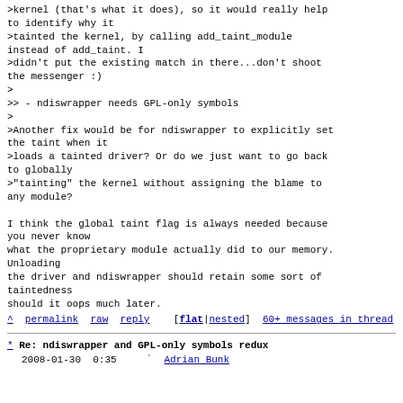>kernel (that's what it does), so it would really help to identify why it
>tainted the kernel, by calling add_taint_module instead of add_taint. I
>didn't put the existing match in there...don't shoot the messenger :)
>
>> - ndiswrapper needs GPL-only symbols
>
>Another fix would be for ndiswrapper to explicitly set the taint when it
>loads a tainted driver? Or do we just want to go back to globally
>"tainting" the kernel without assigning the blame to any module?

I think the global taint flag is always needed because you never know
what the proprietary module actually did to our memory. Unloading
the driver and ndiswrapper should retain some sort of taintedness
should it oops much later.
^ permalink raw reply   [flat|nested] 60+ messages in thread
* Re: ndiswrapper and GPL-only symbols redux
  2008-01-30  0:35     ` Adrian Bunk